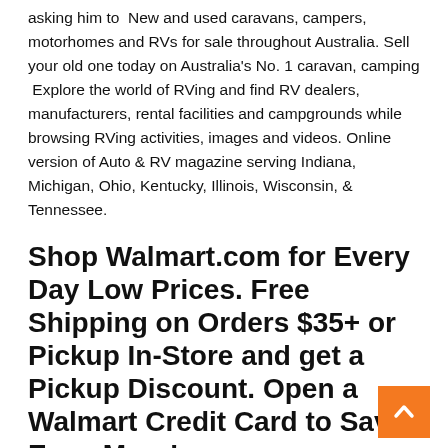asking him to  New and used caravans, campers, motorhomes and RVs for sale throughout Australia. Sell your old one today on Australia's No. 1 caravan, camping  Explore the world of RVing and find RV dealers, manufacturers, rental facilities and campgrounds while browsing RVing activities, images and videos. Online version of Auto & RV magazine serving Indiana, Michigan, Ohio, Kentucky, Illinois, Wisconsin, & Tennessee.
Shop Walmart.com for Every Day Low Prices. Free Shipping on Orders $35+ or Pickup In-Store and get a Pickup Discount. Open a Walmart Credit Card to Save Even More!